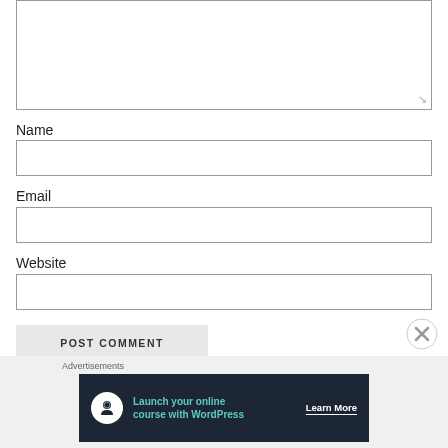[Figure (screenshot): Comment text area input box (empty)]
Name
[Figure (screenshot): Name text input field (empty)]
Email
[Figure (screenshot): Email text input field (empty)]
Website
[Figure (screenshot): Website text input field (empty)]
[Figure (screenshot): POST COMMENT button]
[Figure (screenshot): Close (X) button circle icon]
Advertisements
[Figure (infographic): Dark banner ad: Launch your online course with WordPress. Learn More button. Tree/person icon on white circle.]